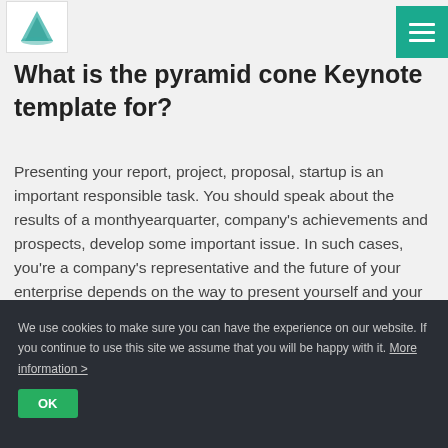[Figure (logo): Pyramid cone logo icon - teal/blue pyramid shape]
What is the pyramid cone Keynote template for?
Presenting your report, project, proposal, startup is an important responsible task. You should speak about the results of a monthyearquarter, company's achievements and prospects, develop some important issue. In such cases, you're a company's representative and the future of your enterprise depends on the way to present yourself and your project. It is a responsible moment, so you should be well-prepared. Pyramid cone Keynote template is designed to help you.

You're likely to create a presentation that will accompany
We use cookies to make sure you can have the experience on our website. If you continue to use this site we assume that you will be happy with it. More information >